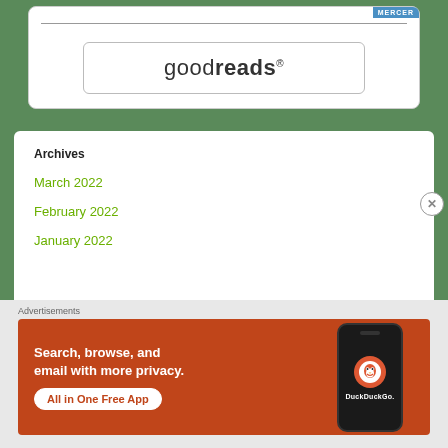[Figure (logo): Goodreads logo inside a rounded rectangle box with MERCER badge in top right corner]
Archives
March 2022
February 2022
January 2022
[Figure (screenshot): DuckDuckGo advertisement banner: orange background with text 'Search, browse, and email with more privacy. All in One Free App' and phone mockup with DuckDuckGo logo]
Advertisements